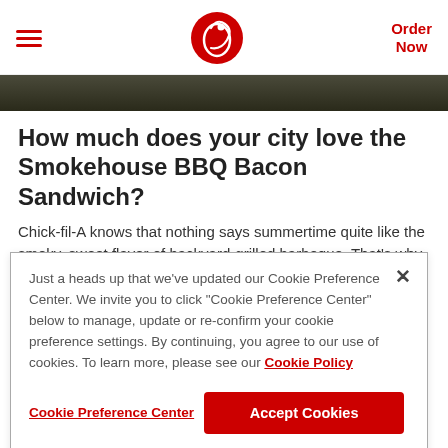Order Now
[Figure (photo): Hero image strip showing a dark outdoor/food scene background]
How much does your city love the Smokehouse BBQ Bacon Sandwich?
Chick-fil-A knows that nothing says summertime quite like the smoky, sweet flavor of backyard-grilled barbeque. That's why we've added the Smokehouse BBQ
Just a heads up that we've updated our Cookie Preference Center. We invite you to click "Cookie Preference Center" below to manage, update or re-confirm your cookie preference settings. By continuing, you agree to our use of cookies. To learn more, please see our Cookie Policy
Cookie Preference Center | Accept Cookies